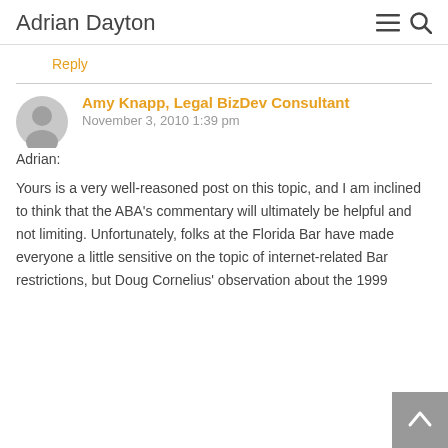Adrian Dayton
Reply
Amy Knapp, Legal BizDev Consultant
November 3, 2010 1:39 pm
Adrian:
Yours is a very well-reasoned post on this topic, and I am inclined to think that the ABA's commentary will ultimately be helpful and not limiting. Unfortunately, folks at the Florida Bar have made everyone a little sensitive on the topic of internet-related Bar restrictions, but Doug Cornelius' observation about the 1999